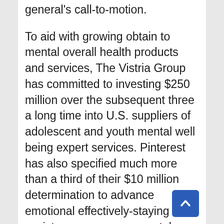general's call-to-motion.
To aid with growing obtain to mental overall health products and services, The Vistria Group has committed to investing $250 million over the subsequent three a long time into U.S. suppliers of adolescent and youth mental well being expert services. Pinterest has also specified much more than a third of their $10 million determination to advance emotional effectively-staying to assistance nongovernmental companies and nonprofits focused on youth to expand accessibility.
The UCLA Centre for Students & Storytellers will companion with Disney Branded Young ones, CAA, Joy Coalition, YouTubeKids and top showrunners to analysis finest techniques on